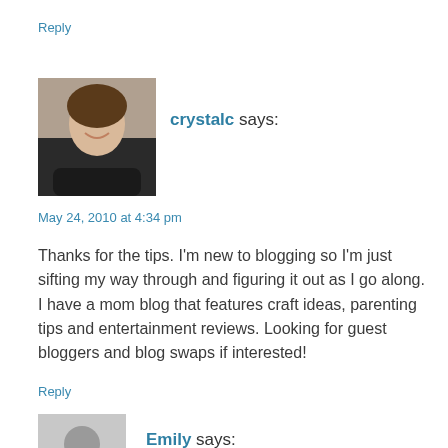Reply
[Figure (photo): Avatar photo of crystalc, a woman smiling, dark hair, dark jacket]
crystalc says:
May 24, 2010 at 4:34 pm
Thanks for the tips. I'm new to blogging so I'm just sifting my way through and figuring it out as I go along. I have a mom blog that features craft ideas, parenting tips and entertainment reviews. Looking for guest bloggers and blog swaps if interested!
Reply
[Figure (photo): Generic avatar placeholder - grey silhouette of a person]
Emily says: